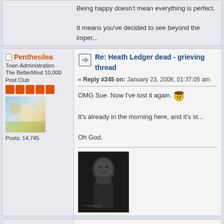Being happy doesn't mean everything is perfect.

It means you've decided to see beyond the imper...
Re: Heath Ledger dead - grieving thread
« Reply #245 on: January 23, 2008, 01:37:05 am »
OMG Sue. Now I've lost it again.
It's already in the morning here, and it's st...
Oh God.
Penthesilea
Town Administration
The BetterMost 10,000 Post Club
Posts: 14,745
[Figure (photo): Avatar image of user Penthesilea - blurred outdoor photo with colorful tones]
[Figure (photo): Black and white photo of Heath Ledger, young man in thoughtful pose with hand near chin]
Re: Heath Ledger dead - grieving thread
« Reply #246 on: January 23, 2008, 01:39:26 am »
Flashframe777
Brokeback Got Me Good